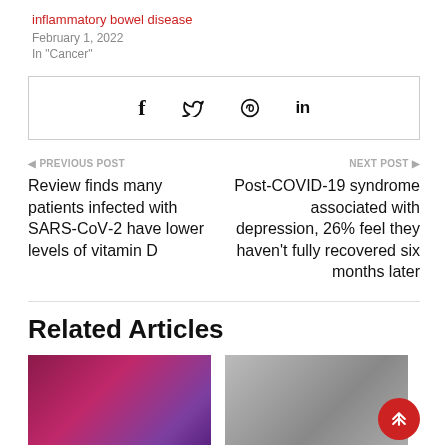inflammatory bowel disease
February 1, 2022
In "Cancer"
[Figure (other): Social share bar with icons for Facebook, Twitter, Pinterest, and LinkedIn]
◄ PREVIOUS POST
Review finds many patients infected with SARS-CoV-2 have lower levels of vitamin D
NEXT POST ►
Post-COVID-19 syndrome associated with depression, 26% feel they haven't fully recovered six months later
Related Articles
[Figure (photo): Purple and red medical/biological image (left thumbnail)]
[Figure (photo): Gray-toned medical image (right thumbnail)]